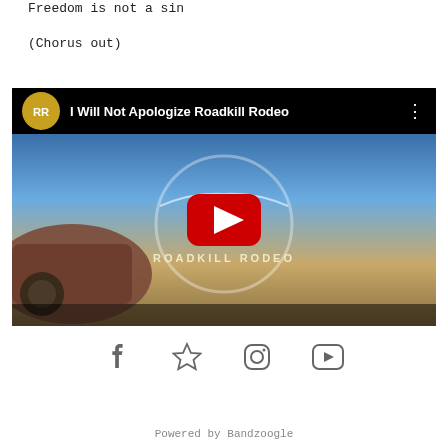Freedom is not a sin
(Chorus out)
[Figure (screenshot): YouTube video embed showing 'I Will Not Apologize Roadkill Rodeo' with Roadkill Rodeo logo on a rusty car background with YouTube play button overlay]
[Figure (other): Social media icons: Facebook, star/bookmark, Instagram, YouTube]
Powered by Bandzoogle